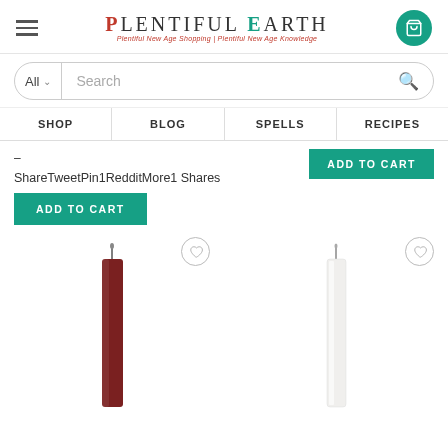[Figure (logo): Plentiful Earth logo with hamburger menu and cart button]
[Figure (screenshot): Search bar with All dropdown and search icon]
SHOP | BLOG | SPELLS | RECIPES navigation bar
ShareTweetPin1RedditMore1 Shares
[Figure (screenshot): ADD TO CART button (right side)]
[Figure (screenshot): ADD TO CART button (left side)]
[Figure (photo): Dark red/brown taper candle with wishlist heart icon]
[Figure (photo): White taper candle with wishlist heart icon]